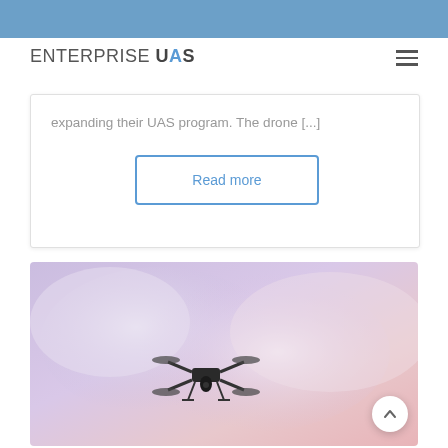ENTERPRISE UAS
expanding their UAS program. The drone [...]
Read more
[Figure (photo): A drone flying against a pink and purple cloudy sky background]